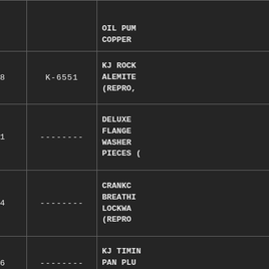|  |  |  |
| --- | --- | --- |
|  |  | OIL PUMP COPPER (cut off) |
| 238 | K-6551 | KJ ROCK ALEMITE (REPRO,... (cut off) |
| 241 | -------- | DELUXE FLANGE WASHER PIECES (cut off) |
| 244 | -------- | CRANKC BREATHER LOCKWA (REPRO (cut off) |
| 246 | -------- | KJ TIMING PAN PLUG (REPRO (cut off) |
| 247 | -------- | DELUXE OIL PAN PCS (RE... (cut off) |
| 248 | -------- | DEL OIL ELBOW S NUT/WAS (REPRO (cut off) |
| 249 | -------- | KJ OIL O ELBOW S WASHE... (cut off) |